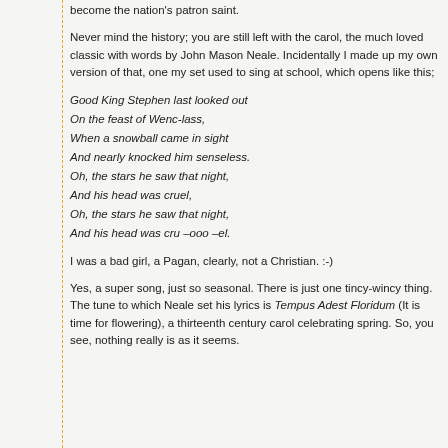become the nation's patron saint.
Never mind the history; you are still left with the carol, the much loved classic with words by John Mason Neale. Incidentally I made up my own version of that, one my set used to sing at school, which opens like this;
Good King Stephen last looked out
On the feast of Wenc-lass,
When a snowball came in sight
And nearly knocked him senseless.
Oh, the stars he saw that night,
And his head was cruel,
Oh, the stars he saw that night,
And his head was cru –ooo –el.
I was a bad girl, a Pagan, clearly, not a Christian. :-)
Yes, a super song, just so seasonal. There is just one tincy-wincy thing. The tune to which Neale set his lyrics is Tempus Adest Floridum (It is time for flowering), a thirteenth century carol celebrating spring. So, you see, nothing really is as it seems.